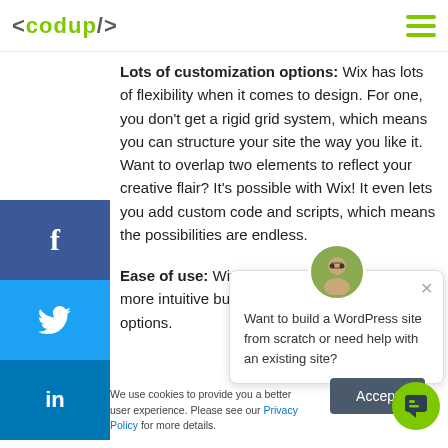<codup/> [hamburger menu]
Lots of customization options: Wix has lots of flexibility when it comes to design. For one, you don't get a rigid grid system, which means you can structure your site the way you like it. Want to overlap two elements to reflect your creative flair? It's possible with Wix! It even lets you add custom code and scripts, which means the possibilities are endless.
Ease of use: Wix has two editors. Wix ADI is more intuitive but has limited customization options.
[Figure (screenshot): Chat popup asking 'Want to build a WordPress site from scratch or need help with an existing site?' with an avatar and close button]
We use cookies to provide you a better user experience. Please see our Privacy Policy for more details.
[Figure (screenshot): Accept button for cookie consent]